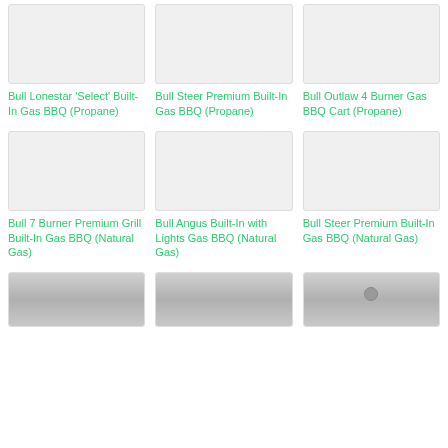[Figure (photo): Product image placeholder for Bull Lonestar 'Select' Built-In Gas BBQ (Propane)]
Bull Lonestar 'Select' Built-In Gas BBQ (Propane)
[Figure (photo): Product image placeholder for Bull Steer Premium Built-In Gas BBQ (Propane)]
Bull Steer Premium Built-In Gas BBQ (Propane)
[Figure (photo): Product image placeholder for Bull Outlaw 4 Burner Gas BBQ Cart (Propane)]
Bull Outlaw 4 Burner Gas BBQ Cart (Propane)
[Figure (photo): Product image placeholder for Bull 7 Burner Premium Grill Built-In Gas BBQ (Natural Gas)]
Bull 7 Burner Premium Grill Built-In Gas BBQ (Natural Gas)
[Figure (photo): Product image placeholder for Bull Angus Built-In with Lights Gas BBQ (Natural Gas)]
Bull Angus Built-In with Lights Gas BBQ (Natural Gas)
[Figure (photo): Product image placeholder for Bull Steer Premium Built-In Gas BBQ (Natural Gas)]
Bull Steer Premium Built-In Gas BBQ (Natural Gas)
[Figure (photo): Product image of grill - bottom row left]
[Figure (photo): Product image of grill - bottom row center]
[Figure (photo): Product image of grill - bottom row right]